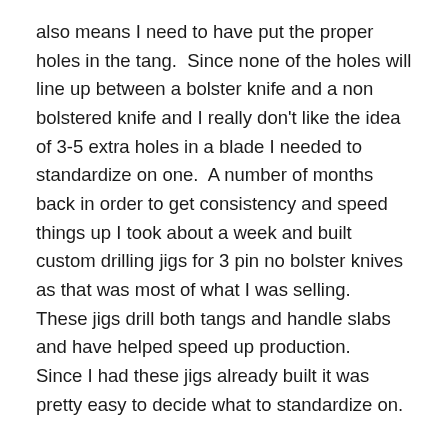also means I need to have put the proper holes in the tang.  Since none of the holes will line up between a bolster knife and a non bolstered knife and I really don't like the idea of 3-5 extra holes in a blade I needed to standardize on one.  A number of months back in order to get consistency and speed things up I took about a week and built custom drilling jigs for 3 pin no bolster knives as that was most of what I was selling.   These jigs drill both tangs and handle slabs and have helped speed up production.   Since I had these jigs already built it was pretty easy to decide what to standardize on.
Now let me take a minute and talk about the zompoc finish.  I really like the finish, however it has a couple things going against it.  The knives are kind of finicky to make.  The process is really organic and not always predictable and not easy to control the appearance consistently.